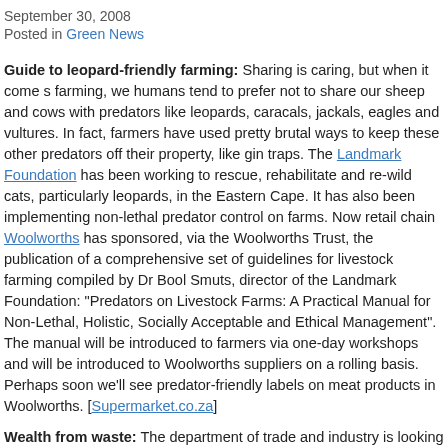September 30, 2008
Posted in Green News
Guide to leopard-friendly farming: Sharing is caring, but when it comes to farming, we humans tend to prefer not to share our sheep and cows with predators like leopards, caracals, jackals, eagles and vultures. In fact, farmers have used pretty brutal ways to keep these other predators off their property, like gin traps. The Landmark Foundation has been working to rescue, rehabilitate and re-wild cats, particularly leopards, in the Eastern Cape. It has also been implementing non-lethal predator control on farms. Now retail chain Woolworths has sponsored, via the Woolworths Trust, the publication of a comprehensive set of guidelines for livestock farming compiled by Dr Bool Smuts, director of the Landmark Foundation: "Predators on Livestock Farms: A Practical Manual for Non-Lethal, Holistic, Socially Acceptable and Ethical Management". The manual will be introduced to farmers via one-day workshops and will be introduced to Woolworths suppliers on a rolling basis. Perhaps soon we'll see predator-friendly labels on meat products in Woolworths. [Supermarket.co.za]
Wealth from waste: The department of trade and industry is looking at ways to grow the local recycling industry and has commissioned a study to identify challenges...